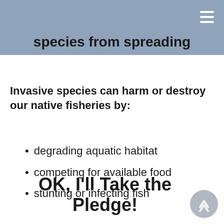species from spreading
Invasive species can harm or destroy our native fisheries by:
degrading aquatic habitat
competing for available food
stunting or infecting fish
OK, I'll Take the Pledge!